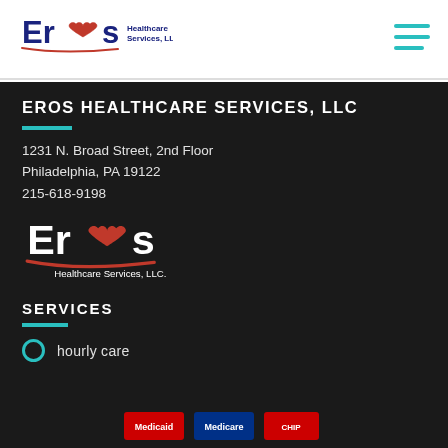[Figure (logo): Eros Healthcare Services, LLC logo in header — dark blue 'Eros' text with red heart, and 'Healthcare Services, LLC.' in smaller text]
[Figure (other): Hamburger menu icon — three teal horizontal lines, top right of header]
EROS HEALTHCARE SERVICES, LLC
1231 N. Broad Street, 2nd Floor
Philadelphia, PA 19122
215-618-9198
[Figure (logo): Eros Healthcare Services, LLC logo — white 'Eros' text with red heart on dark background]
SERVICES
hourly care
[Figure (logo): Medicaid/Medicare related logos at bottom, partially visible]